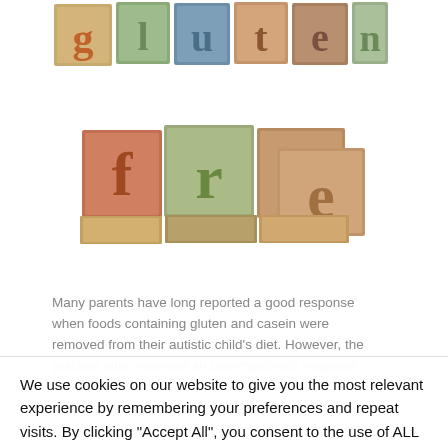[Figure (photo): Letterpress wooden block typography spelling 'gluten free' in colorful vintage style blocks]
Many parents have long reported a good response when foods containing gluten and casein were removed from their autistic child's diet. However, the practice often received an unsympathetic response from doctors.
This new medical research provides an
We use cookies on our website to give you the most relevant experience by remembering your preferences and repeat visits. By clicking "Accept All", you consent to the use of ALL the cookies. However, you may visit "Cookie Settings" to provide a controlled consent.